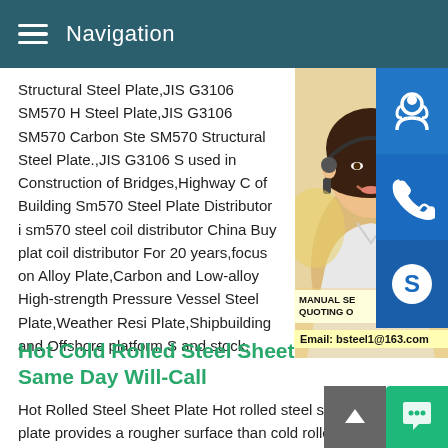Navigation
Structural Steel Plate,JIS G3106 SM570 H Steel Plate,JIS G3106 SM570 Carbon Ste SM570 Structural Steel Plate.,JIS G3106 S used in Construction of Bridges,Highway C of Building Sm570 Steel Plate Distributor i sm570 steel coil distributor China Buy plat coil distributor For 20 years,focus on Alloy Plate,Carbon and Low-alloy High-strength Pressure Vessel Steel Plate,Weather Resi Plate,Shipbuilding and Offshore platform S and stock.
Hot Cold Rolled Steel Sheet Plate Same Day Will-Call
Hot Rolled Steel Sheet Plate Hot rolled steel sheet and plate provides a rougher surface than cold rolled steel and plate.Wh